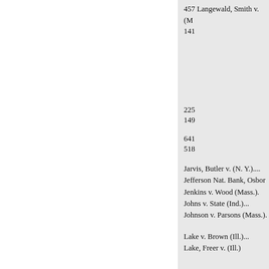457 Langewald, Smith v. (N...
141
225
149
641
518
Jarvis, Butler v. (N. Y.).....
Jefferson Nat. Bank, Osborn...
Jenkins v. Wood (Mass.).
Johns v. State (Ind.)...
Johnson v. Parsons (Mass.).
Lake v. Brown (Ill.)...
Lake, Freer v. (Ill.)